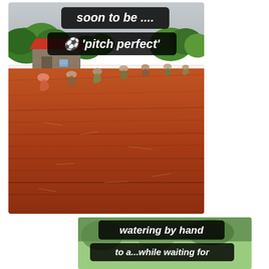[Figure (photo): Workers bent over tilling red-brown soil on a large field, with green trees and a red-roofed building in the background. Overlaid text reads 'soon to be ....' and '⚽ pitch perfect'. This is a football pitch being prepared by hand.]
[Figure (photo): Second partial photo showing green foliage/grass with overlaid text 'watering by hand' and partial text below '...while waiting for...']